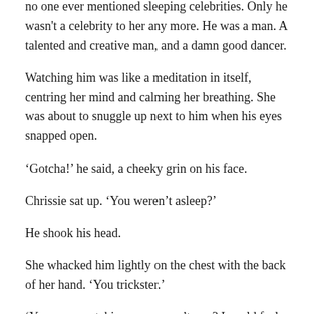Everyone said that sleeping children were gorgeous, but no one ever mentioned sleeping celebrities. Only he wasn't a celebrity to her any more. He was a man. A talented and creative man, and a damn good dancer.
Watching him was like a meditation in itself, centring her mind and calming her breathing. She was about to snuggle up next to him when his eyes snapped open.
‘Gotcha!’ he said, a cheeky grin on his face.
Chrissie sat up. ‘You weren’t asleep?’
He shook his head.
She whacked him lightly on the chest with the back of her hand. ‘You trickster.’
‘You were watching me, weren’t you? I could feel it.’ A